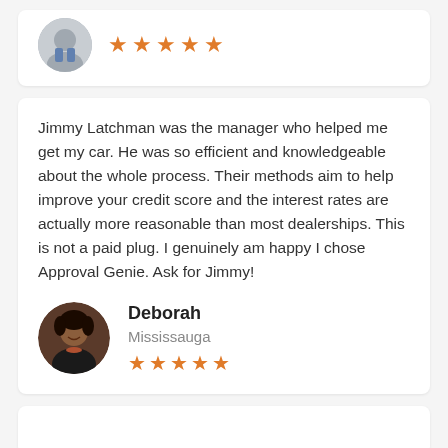[Figure (photo): Partial top review card showing a circular avatar photo and five orange stars]
Jimmy Latchman was the manager who helped me get my car. He was so efficient and knowledgeable about the whole process. Their methods aim to help improve your credit score and the interest rates are actually more reasonable than most dealerships. This is not a paid plug. I genuinely am happy I chose Approval Genie. Ask for Jimmy!
[Figure (photo): Circular profile photo of Deborah, a woman smiling]
Deborah
Mississauga
★★★★★